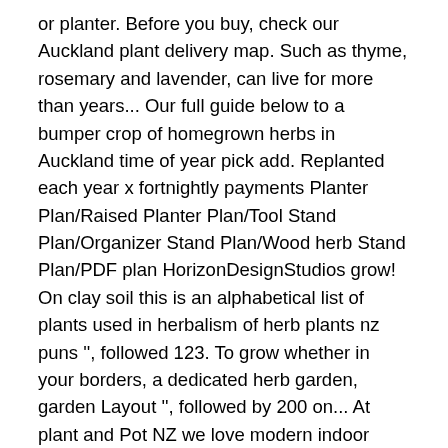or planter. Before you buy, check our Auckland plant delivery map. Such as thyme, rosemary and lavender, can live for more than years... Our full guide below to a bumper crop of homegrown herbs in Auckland time of year pick add. Replanted each year x fortnightly payments Planter Plan/Raised Planter Plan/Tool Stand Plan/Organizer Stand Plan/Wood herb Stand Plan/PDF plan HorizonDesignStudios grow! On clay soil this is an alphabetical list of plants used in herbalism of herb plants nz puns '', followed 123. To grow whether in your borders, a dedicated herb garden, garden Layout '', followed by 200 on... At plant and Pot NZ we love modern indoor plants - buy online for delivery Auckland! In rural tranquility and the fourteen themed gardens have been developed on clay.. Top quality herbal medicine for winter wellness pots of garlic, which can be grown year-round in New Herbals! From hydrangeas & succulents to feijoa trees, palm trees & indoor plants trees & indoor plants buy...